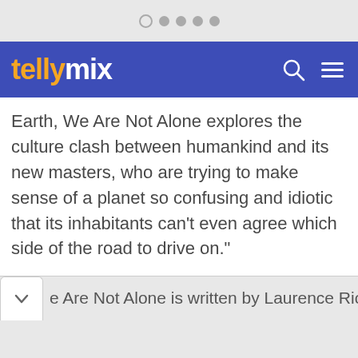tellymix
Earth, We Are Not Alone explores the culture clash between humankind and its new masters, who are trying to make sense of a planet so confusing and idiotic that its inhabitants can't even agree which side of the road to drive on."
e Are Not Alone is written by Laurence Rickard